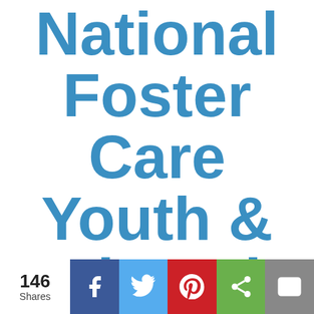National Foster Care Youth & Alumni
[Figure (other): Social share bar with Facebook, Twitter, Pinterest, share, and email buttons, plus 146 Shares count]